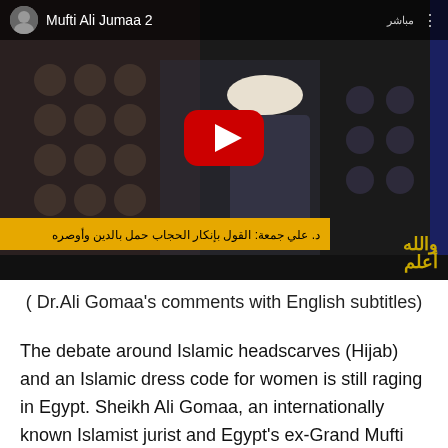[Figure (screenshot): YouTube video thumbnail showing a man in Islamic clerical dress speaking on a TV program. Title bar reads 'Mufti Ali Jumaa 2'. Arabic text banner at bottom. Arabic TV channel logo visible. Red YouTube play button in center.]
( Dr.Ali Gomaa's comments with English subtitles)
The debate around Islamic headscarves (Hijab) and an Islamic dress code for women is still raging in Egypt. Sheikh Ali Gomaa, an internationally known Islamist jurist and Egypt's ex-Grand Mufti (top interpreter of religious edicts issued by Muslim clerics), recently joined the debate with some very surprising and alarming comments